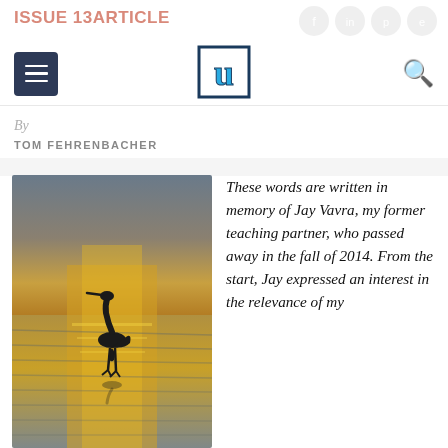ISSUE 13ARTICLE
[Figure (logo): Hamburger menu icon, U logo, and search icon navigation bar]
By
TOM FEHRENBACHER
[Figure (photo): Silhouette of a heron standing in shallow water at sunset with golden reflections on the water surface]
These words are written in memory of Jay Vavra, my former teaching partner, who passed away in the fall of 2014. From the start, Jay expressed an interest in the relevance of my